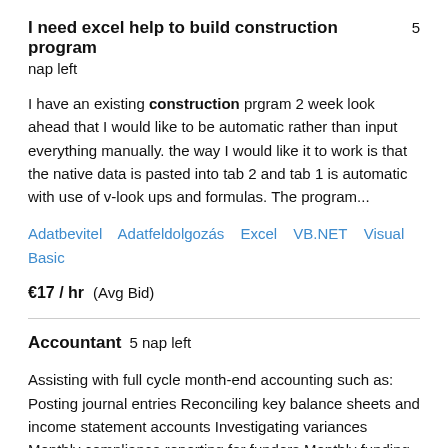I need excel help to build construction program  5 nap left
I have an existing construction prgram 2 week look ahead that I would like to be automatic rather than input everything manually. the way I would like it to work is that the native data is pasted into tab 2 and tab 1 is automatic with use of v-look ups and formulas. The program...
Adatbevitel   Adatfeldolgozás   Excel   VB.NET   Visual Basic
€17 / hr   (Avg Bid)
Accountant  5 nap left
Assisting with full cycle month-end accounting such as: Posting journal entries Reconciling key balance sheets and income statement accounts Investigating variances Monthly compliance reporting for funders Monthly funding packages Analysis of financial and loan data...